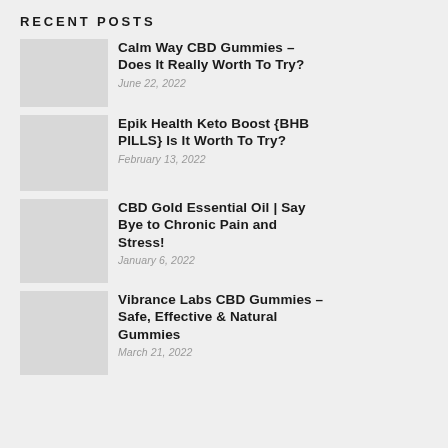Recent Posts
Calm Way CBD Gummies – Does It Really Worth To Try?
June 22, 2022
Epik Health Keto Boost {BHB PILLS} Is It Worth To Try?
February 13, 2022
CBD Gold Essential Oil | Say Bye to Chronic Pain and Stress!
January 6, 2022
Vibrance Labs CBD Gummies – Safe, Effective & Natural Gummies
March 21, 2022